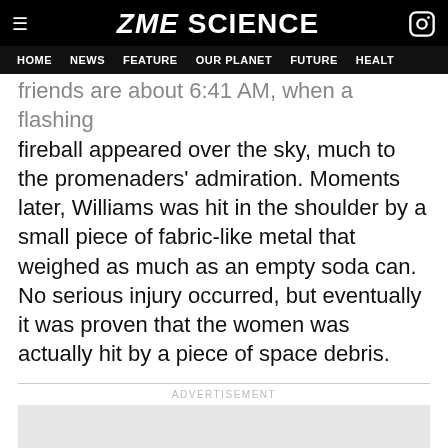ZME SCIENCE
HOME NEWS FEATURE OUR PLANET FUTURE HEALT
friends are about 6:41 AM, when a flashing fireball appeared over the sky, much to the promenaders' admiration. Moments later, Williams was hit in the shoulder by a small piece of fabric-like metal that weighed as much as an empty soda can. No serious injury occurred, but eventually it was proven that the women was actually hit by a piece of space debris.
ADVERTISEMENT